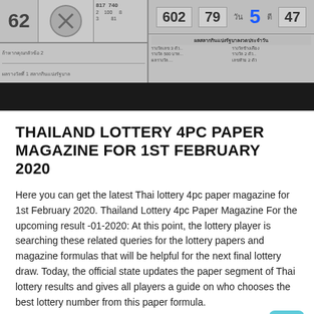[Figure (photo): Thai lottery paper/magazine scan showing lottery numbers and Thai text, displayed in grayscale]
THAILAND LOTTERY 4PC PAPER MAGAZINE FOR 1ST FEBRUARY 2020
Here you can get the latest Thai lottery 4pc paper magazine for 1st February 2020. Thailand Lottery 4pc Paper Magazine For the upcoming result -01-2020: At this point, the lottery player is searching these related queries for the lottery papers and magazine formulas that will be helpful for the next final lottery draw. Today, the official state updates the paper segment of Thai lottery results and gives all players a guide on who chooses the best lottery number from this paper formula.
Thailand Lottery 4pc Paper